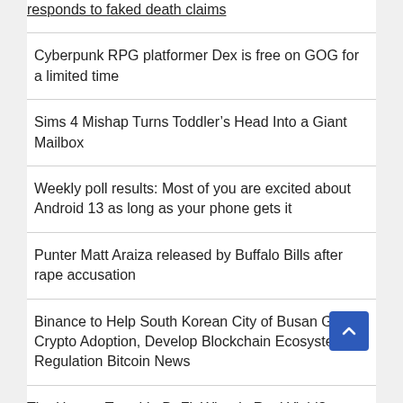responds to faked death claims
Cyberpunk RPG platformer Dex is free on GOG for a limited time
Sims 4 Mishap Turns Toddler’s Head Into a Giant Mailbox
Weekly poll results: Most of you are excited about Android 13 as long as your phone gets it
Punter Matt Araiza released by Buffalo Bills after rape accusation
Binance to Help South Korean City of Busan Grow Crypto Adoption, Develop Blockchain Ecosystem – Regulation Bitcoin News
The Hottest Trend In DeFi: What Is Real Yield?